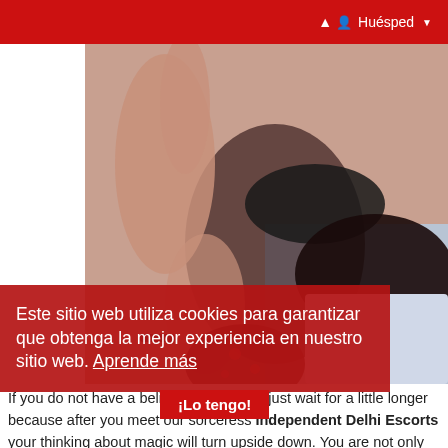Huésped
[Figure (photo): A woman in black lingerie lying on a bed, partially obscured by a red cookie consent overlay]
Este sitio web utiliza cookies para garantizar que obtenga la mejor experiencia en nuestro sitio web. Aprende más
¡Lo tengo!
If you do not have a belief in magic then just wait for a little longer because after you meet our sorceress Independent Delhi Escorts your thinking about magic will turn upside down. You are not only going to believe in magic but also you will feel the magic